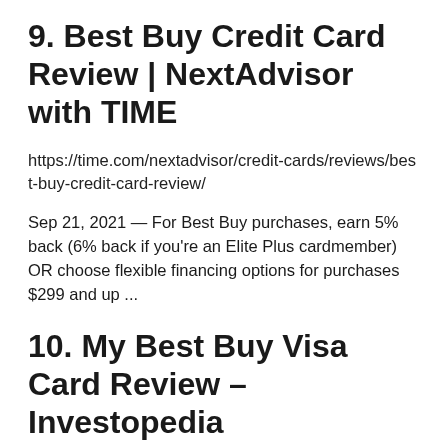9. Best Buy Credit Card Review | NextAdvisor with TIME
https://time.com/nextadvisor/credit-cards/reviews/best-buy-credit-card-review/
Sep 21, 2021 — For Best Buy purchases, earn 5% back (6% back if you’re an Elite Plus cardmember) OR choose flexible financing options for purchases $299 and up ...
10. My Best Buy Visa Card Review – Investopedia
https://www.investopedia.com/my-best-buy-visa-card-review-4800373...